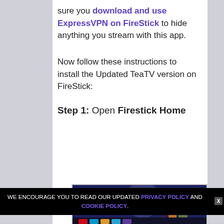sure you download and use ExpressVPN on FireStick to hide anything you stream with this app.
Now follow these instructions to install the Updated TeaTV version on FireStick:
Step 1: Open Firestick Home
[Figure (screenshot): Screenshot of Amazon Firestick home screen showing Monster Family movie banner with animated characters]
WE ENCOURAGE YOU TO READ OUR UPDATED PRIVACY POLICY AND COOKIE POLICY.